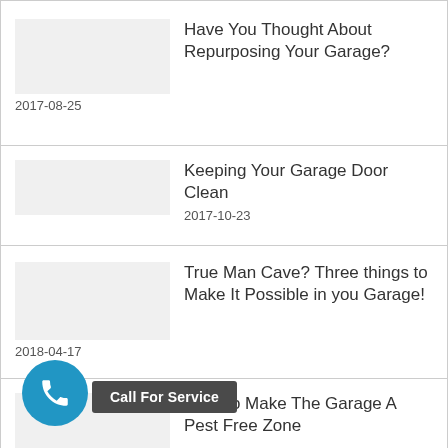Have You Thought About Repurposing Your Garage?
2017-08-25
Keeping Your Garage Door Clean
2017-10-23
True Man Cave? Three things to Make It Possible in you Garage!
2018-04-17
How To Make The Garage A Pest Free Zone
2018-04-19
Call For Service